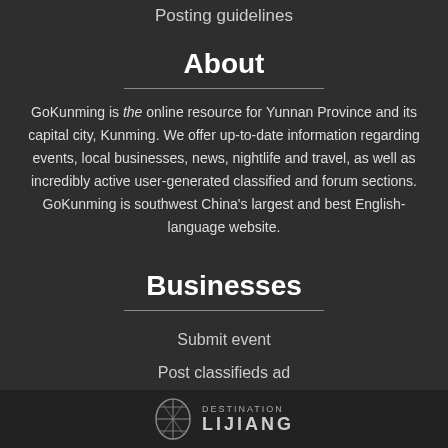Posting guidelines
About
GoKunming is the online resource for Yunnan Province and its capital city, Kunming. We offer up-to-date information regarding events, local businesses, news, nightlife and travel, as well as incredibly active user-generated classified and forum sections. GoKunming is southwest China's largest and best English-language website.
Businesses
Submit event
Post classifieds ad
Submit listing
[Figure (logo): Destination Lijiang logo with circular emblem and text]